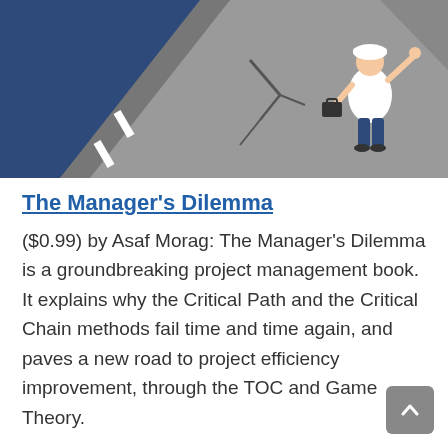[Figure (illustration): Illustrated cartoon of a construction worker in a hard hat running away from a cracked road surface, against a dark blue background.]
The Manager's Dilemma
($0.99) by Asaf Morag: The Manager's Dilemma is a groundbreaking project management book. It explains why the Critical Path and the Critical Chain methods fail time and time again, and paves a new road to project efficiency improvement, through the TOC and Game Theory.
This deal is good on November